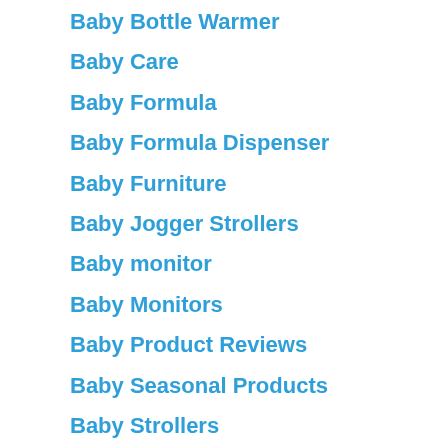Baby Bottle Warmer
Baby Care
Baby Formula
Baby Formula Dispenser
Baby Furniture
Baby Jogger Strollers
Baby monitor
Baby Monitors
Baby Product Reviews
Baby Seasonal Products
Baby Strollers
Baby Strollers by Brand
Baby Strollers by Type
Baby Swing